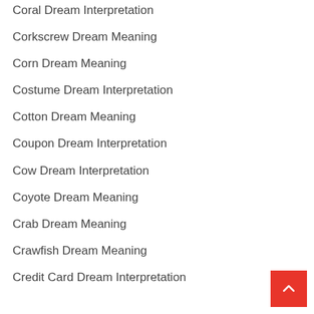Coral Dream Interpretation
Corkscrew Dream Meaning
Corn Dream Meaning
Costume Dream Interpretation
Cotton Dream Meaning
Coupon Dream Interpretation
Cow Dream Interpretation
Coyote Dream Meaning
Crab Dream Meaning
Crawfish Dream Meaning
Credit Card Dream Interpretation